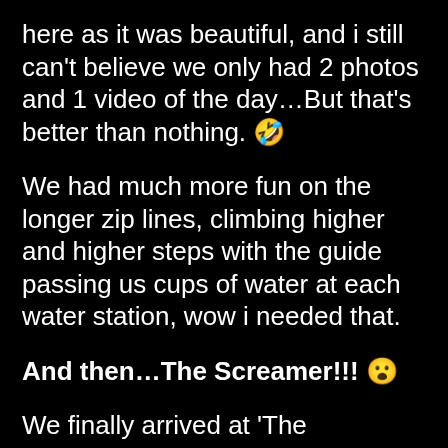here as it was beautiful, and i still can't believe we only had 2 photos and 1 video of the day…But that's better than nothing. 🤣
We had much more fun on the longer zip lines, climbing higher and higher steps with the guide passing us cups of water at each water station, wow i needed that.
And then…The Screamer!!! 😮
We finally arrived at 'The Screamer'…It's the highest, fastest and longest zip-line in this place. It stretches 328 feet across a ravine and is 350 feet above the rain forest floor.
I stepped slowly to the edge of the platform, my heart was trying to pound its